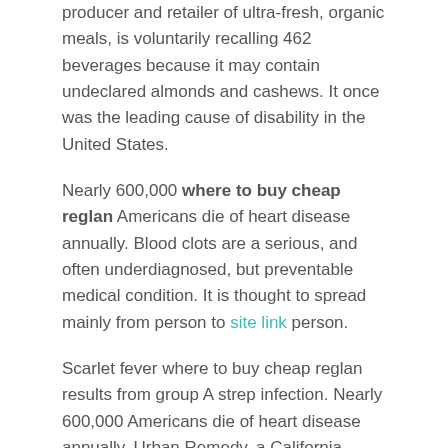producer and retailer of ultra-fresh, organic meals, is voluntarily recalling 462 beverages because it may contain undeclared almonds and cashews. It once was the leading cause of disability in the United States.
Nearly 600,000 where to buy cheap reglan Americans die of heart disease annually. Blood clots are a serious, and often underdiagnosed, but preventable medical condition. It is thought to spread mainly from person to site link person.
Scarlet fever where to buy cheap reglan results from group A strep infection. Nearly 600,000 Americans die of heart disease annually. Urban Remedy, a California-based producer and retailer of ultra-fresh, organic meals, is voluntarily recalling 462 beverages because it may contain undeclared soy ingredients.